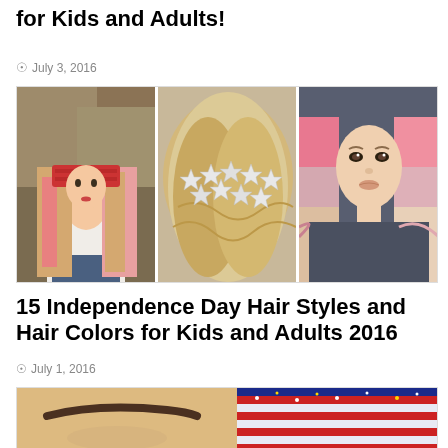for Kids and Adults!
July 3, 2016
[Figure (photo): Three hair style photos side by side: left - woman with long pink highlighted hair and red bandana; center - back of head with blonde waves and star hairpin accessories; right - woman with pink-to-blonde ombre hair]
15 Independence Day Hair Styles and Hair Colors for Kids and Adults 2016
July 1, 2016
[Figure (photo): Partial photo showing person with American flag face paint/makeup - eyebrow and red, white, blue glitter visible at bottom of page]